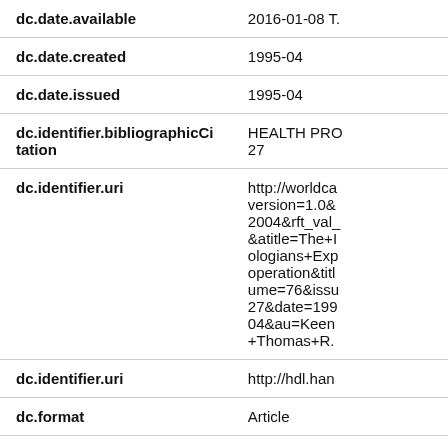| Field | Value |
| --- | --- |
| dc.date.available | 2016-01-08 T. |
| dc.date.created | 1995-04 |
| dc.date.issued | 1995-04 |
| dc.identifier.bibliographicCitation | HEALTH PRO 27 |
| dc.identifier.uri | http://worldca version=1.0& 2004&rft_val_ &atitle=The+I ologians+Exp operation&titl ume=76&issu 27&date=199 04&au=Keen +Thomas+R. |
| dc.identifier.uri | http://hdl.han |
| dc.format | Article |